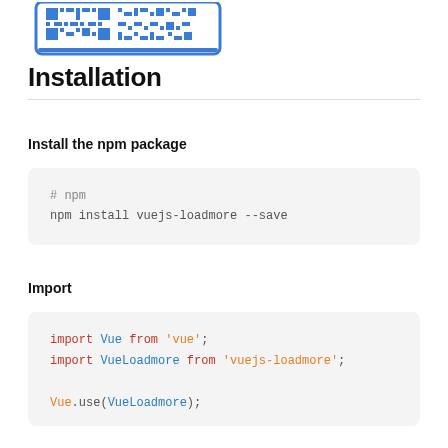[Figure (illustration): Partial QR code illustration in blue, cropped at top of page]
Installation
Install the npm package
# npm
npm install vuejs-loadmore --save
Import
import Vue from 'vue';
import VueLoadmore from 'vuejs-loadmore';

Vue.use(VueLoadmore);